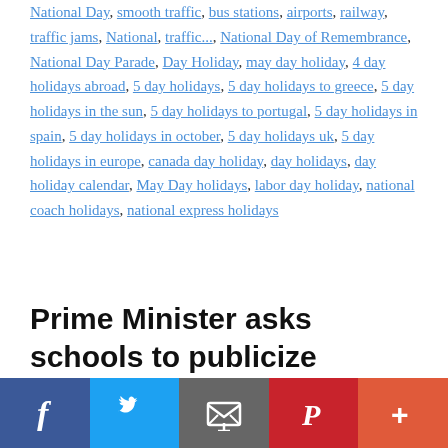National Day, smooth traffic, bus stations, airports, railway, traffic jams, National, traffic..., National Day of Remembrance, National Day Parade, Day Holiday, may day holiday, 4 day holidays abroad, 5 day holidays, 5 day holidays to greece, 5 day holidays in the sun, 5 day holidays to portugal, 5 day holidays in spain, 5 day holidays in october, 5 day holidays uk, 5 day holidays in europe, canada day holiday, day holidays, day holiday calendar, May Day holidays, labor day holiday, national coach holidays, national express holidays
Prime Minister asks schools to publicize collections
September 1, 2022 by www.sggpnews.org.vn
[Figure (infographic): Social media sharing bar with Facebook, Twitter, Email, Pinterest, and More buttons]